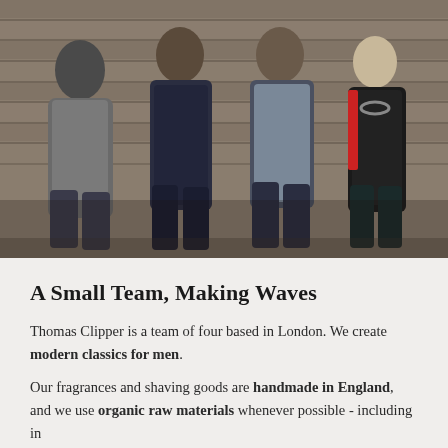[Figure (photo): Four people (three men and one woman) standing in a row against a wooden plank wall background. The men wear grey, navy, and brown/blue jackets; the woman on the right wears a black jacket with red accents and a beaded necklace. All are facing the camera in casual poses.]
A Small Team, Making Waves
Thomas Clipper is a team of four based in London. We create modern classics for men.
Our fragrances and shaving goods are handmade in England, and we use organic raw materials whenever possible - including in